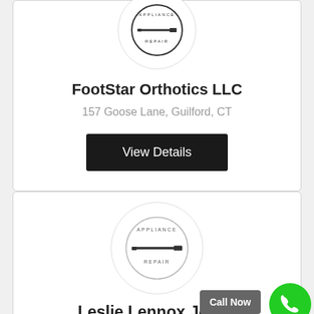[Figure (logo): Appliance Repair circular stamp logo with screwdriver icon]
FootStar Orthotics LLC
157 Goose Lane, Guilford, CT
View Details
[Figure (logo): Appliance Repair circular stamp logo with screwdriver icon]
Call Now
Leslie Lennox Jones